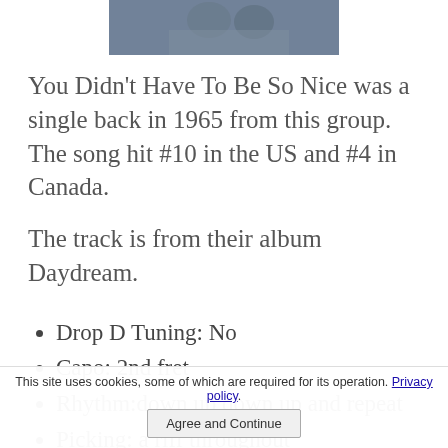[Figure (photo): Black and white photograph of a music group, partially visible at top of page]
You Didn't Have To Be So Nice was a single back in 1965 from this group. The song hit #10 in the US and #4 in Canada.
The track is from their album Daydream.
Drop D Tuning: No
Capo: 2nd fret
Rhythm:down up down up and repeat
Picking: a riff throughout
This site uses cookies, some of which are required for its operation. Privacy policy